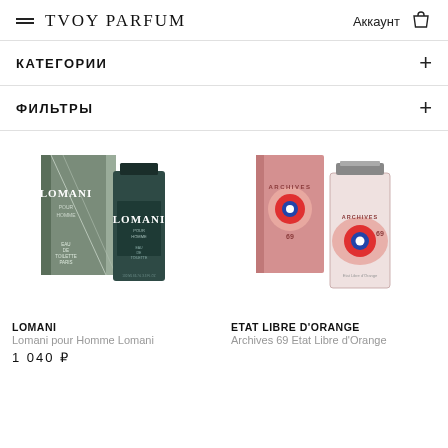TVOY PARFUM — Аккаунт
КАТЕГОРИИ
ФИЛЬТРЫ
[Figure (photo): Lomani pour Homme perfume box and bottle — green/dark teal packaging]
LOMANI
Lomani pour Homme Lomani
1 040 ₽
[Figure (photo): Etat Libre d'Orange Archives 69 perfume box and bottle — pink packaging with bullseye logo]
ETAT LIBRE D'ORANGE
Archives 69 Etat Libre d'Orange